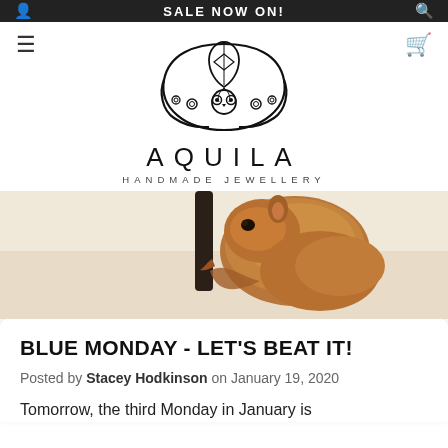SALE NOW ON!
[Figure (logo): Aquila Handmade Jewellery logo with decorative mandala/lotus motif above the brand name]
[Figure (photo): Close-up photo of a small furry brown animal (possibly a sugar glider or small mammal) perched on a dark branch or rod, with a light/beige background]
BLUE MONDAY - LET'S BEAT IT!
Posted by Stacey Hodkinson on January 19, 2020
Tomorrow, the third Monday in January is